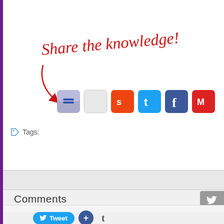[Figure (screenshot): Share the knowledge! text in red handwriting with a red arrow pointing to a row of social media sharing icons (Delicious, Reddit, StumbleUpon, Twitter, Facebook, Gmail, Email)]
Tags:
Comments
44 Responses to “VMTTC Batch 2 Results”
admin says:
January 8, 2012 at 11:51 pm
We would appreciate if you could also help us by tagging and submitting this post to popular social bookmarking sites...